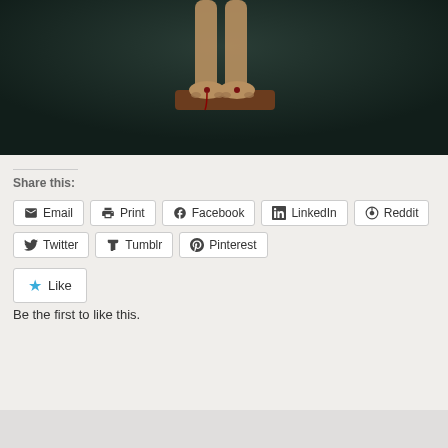[Figure (illustration): Dark painting showing feet/lower legs of crucifixion figure on a wooden block against dark background]
Share this:
Email
Print
Facebook
LinkedIn
Reddit
Twitter
Tumblr
Pinterest
Like
Be the first to like this.